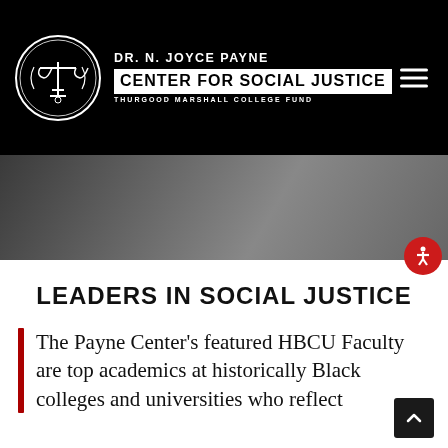[Figure (logo): Dr. N. Joyce Payne Center for Social Justice, Thurgood Marshall College Fund logo with scales of justice emblem in circular seal]
[Figure (photo): Black and white hero image showing draped fabric or cloth in close-up with dramatic lighting]
LEADERS IN SOCIAL JUSTICE
The Payne Center's featured HBCU Faculty are top academics at historically Black colleges and universities who reflect